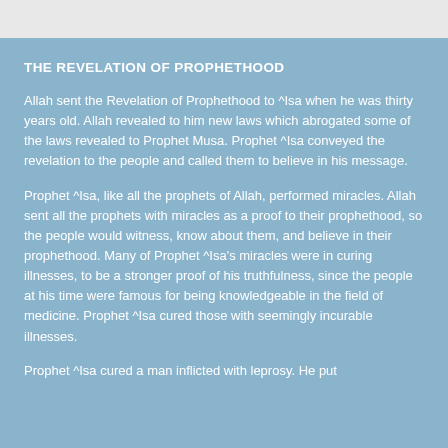THE REVELATION OF PROPHETHOOD
Allah sent the Revelation of Prophethood to ^Isa when he was thirty years old. Allah revealed to him new laws which abrogated some of the laws revealed to Prophet Musa. Prophet ^Isa conveyed the revelation to the people and called them to believe in his message.
Prophet ^Isa, like all the prophets of Allah, performed miracles. Allah sent all the prophets with miracles as a proof to their prophethood, so the people would witness, know about them, and believe in their prophethood. Many of Prophet ^Isa's miracles were in curing illnesses, to be a stronger proof of his truthfulness, since the people at his time were famous for being knowledgeable in the field of medicine. Prophet ^Isa cured those with seemingly incurable illnesses.
Prophet ^Isa cured a man inflicted with leprosy. He put